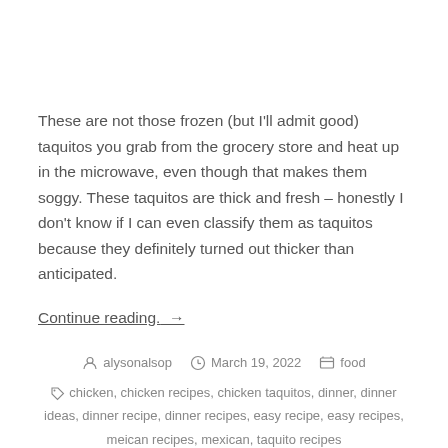These are not those frozen (but I'll admit good) taquitos you grab from the grocery store and heat up in the microwave, even though that makes them soggy. These taquitos are thick and fresh – honestly I don't know if I can even classify them as taquitos because they definitely turned out thicker than anticipated.
Continue reading. →
alysonalsop   March 19, 2022   food
chicken, chicken recipes, chicken taquitos, dinner, dinner ideas, dinner recipe, dinner recipes, easy recipe, easy recipes, meican recipes, mexican, taquito recipes
6 Comments